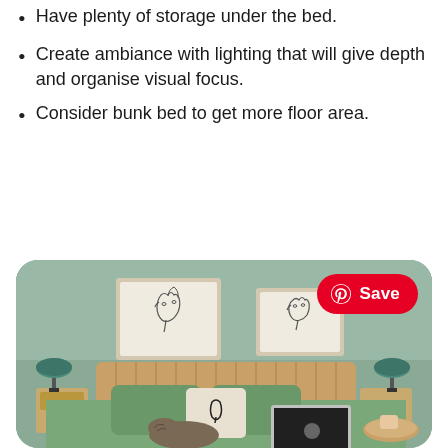Have plenty of storage under the bed.
Create ambiance with lighting that will give depth and organise visual focus.
Consider bunk bed to get more floor area.
[Figure (photo): A bedroom with sage green walls and bedding, a wooden rattan headboard, two line-art face prints on the wall, two teal desk lamps on wooden nightstands, a cat sleeping on the bed, an open laptop, and a wicker tray with coffee items. A Pinterest Save button is visible in the top right corner of the image.]